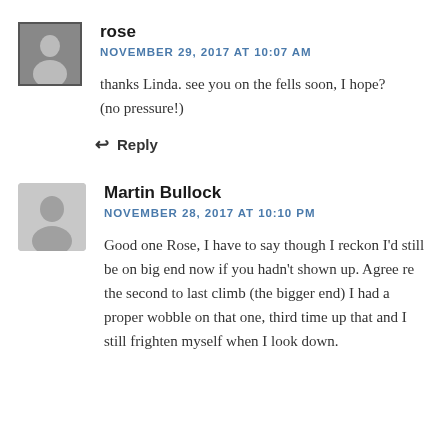[Figure (photo): Small avatar photo of 'rose' commenter, black and white portrait]
rose
NOVEMBER 29, 2017 AT 10:07 AM
thanks Linda. see you on the fells soon, I hope? (no pressure!)
↩ Reply
[Figure (illustration): Generic grey avatar silhouette for Martin Bullock commenter]
Martin Bullock
NOVEMBER 28, 2017 AT 10:10 PM
Good one Rose, I have to say though I reckon I'd still be on big end now if you hadn't shown up. Agree re the second to last climb (the bigger end) I had a proper wobble on that one, third time up that and I still frighten myself when I look down.